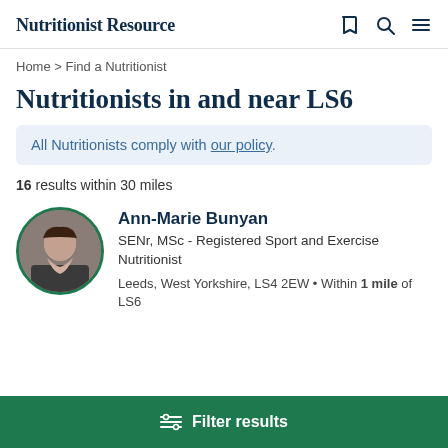Nutritionist Resource
Home > Find a Nutritionist
Nutritionists in and near LS6
All Nutritionists comply with our policy.
16 results within 30 miles
Ann-Marie Bunyan
SENr, MSc - Registered Sport and Exercise Nutritionist
Leeds, West Yorkshire, LS4 2EW • Within 1 mile of LS6
Filter results